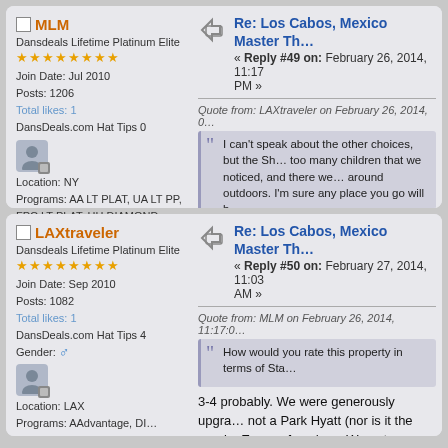MLM - Dansdeals Lifetime Platinum Elite, Join Date: Jul 2010, Posts: 1206, Total likes: 1, DansDeals.com Hat Tips 0, Location: NY, Programs: AA LT PLAT, UA LT PP, FPC LT PLAT, HH DIAMOND,
Re: Los Cabos, Mexico Master Th... « Reply #49 on: February 26, 2014, 11:17 PM »
Quote from: LAXtraveler on February 26, 2014, ... I can't speak about the other choices, but the Sh... too many children that we noticed, and there we... around outdoors. I'm sure any place you go will b...
How would you rate this property in terms...
LAXtraveler - Dansdeals Lifetime Platinum Elite, Join Date: Sep 2010, Posts: 1082, Total likes: 1, DansDeals.com Hat Tips 4, Gender: Male, Location: LAX, Programs: AAdvantage, DI
Re: Los Cabos, Mexico Master Th... « Reply #50 on: February 27, 2014, 11:03 AM »
Quote from: MLM on February 26, 2014, 11:17:0... How would you rate this property in terms of Sta...
3-4 probably. We were generously upgra... not a Park Hyatt (nor is it the nearby Espe... few days. We got a very good paid rate...